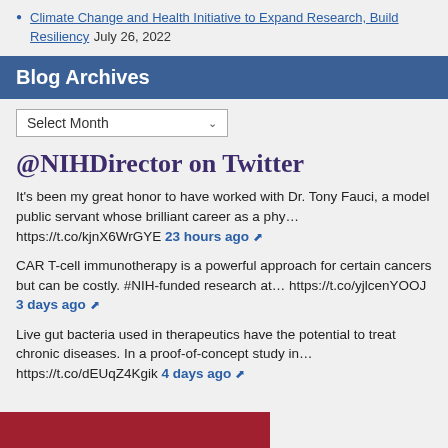Climate Change and Health Initiative to Expand Research, Build Resiliency July 26, 2022
Blog Archives
Select Month
@NIHDirector on Twitter
It's been my great honor to have worked with Dr. Tony Fauci, a model public servant whose brilliant career as a phy… https://t.co/kjnX6WrGYE 23 hours ago
CAR T-cell immunotherapy is a powerful approach for certain cancers but can be costly. #NIH-funded research at… https://t.co/yjlcenYOOJ 3 days ago
Live gut bacteria used in therapeutics have the potential to treat chronic diseases. In a proof-of-concept study in… https://t.co/dEUqZ4Kgik 4 days ago
[Figure (photo): Red banner image at bottom, likely NIH Director photo or Twitter card]